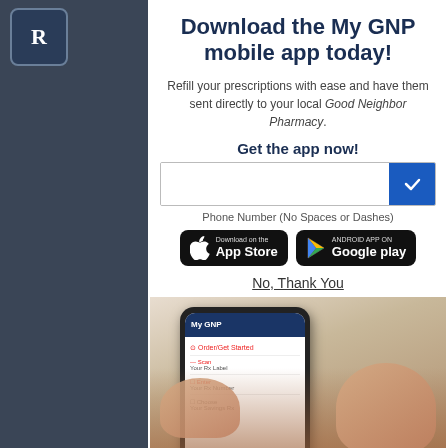[Figure (screenshot): Website background with dark overlay showing pharmacy site navigation, hamburger menu, logo, nav bar with 'J & B...' text, reCAPTCHA, and privacy footer]
Download the My GNP mobile app today!
Refill your prescriptions with ease and have them sent directly to your local Good Neighbor Pharmacy.
Get the app now!
Phone Number (No Spaces or Dashes)
[Figure (logo): Download on the App Store button (black rounded rectangle with Apple logo)]
[Figure (logo): Android App on Google play button (black rounded rectangle with Google Play logo)]
No, Thank You
[Figure (photo): Hands holding a smartphone displaying the My GNP app with options: Order/Get Started, Scan Your Rx Label, Enter Your Rx Number, Choose Your Savings Rx]